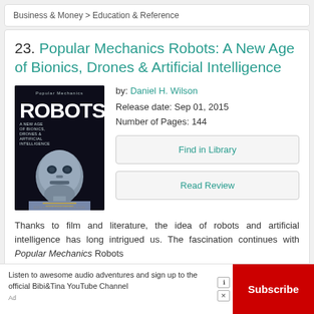Business & Money > Education & Reference
23. Popular Mechanics Robots: A New Age of Bionics, Drones & Artificial Intelligence
[Figure (photo): Book cover of Popular Mechanics Robots featuring a silver robot face on a dark background with bold white ROBOTS title text]
by: Daniel H. Wilson
Release date: Sep 01, 2015
Number of Pages: 144
Find in Library
Read Review
Thanks to film and literature, the idea of robots and artificial intelligence has long intrigued us. The fascination continues with Popular Mechanics Robots...
Ad  Listen to awesome audio adventures and sign up to the official Bibi&Tina YouTube Channel
Subscribe